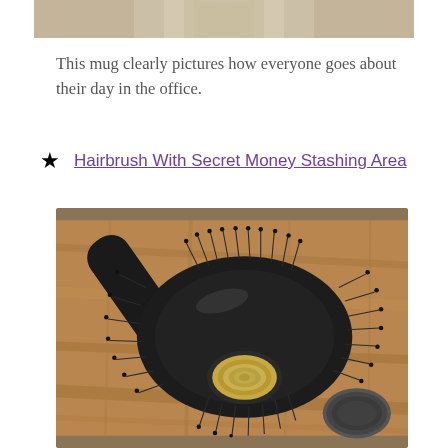[Figure (photo): Partial view of a person's waist/legs in beige/tan clothing, cropped at the top of the page]
This mug clearly pictures how everyone goes about their day in the office.
Hairbrush With Secret Money Stashing Area
[Figure (photo): A round barrel hairbrush with black bristles lying on a wooden surface, with its bottom cap removed revealing a hidden compartment containing rolled bills/money. A separate circular cap/lid is visible in the lower right corner.]